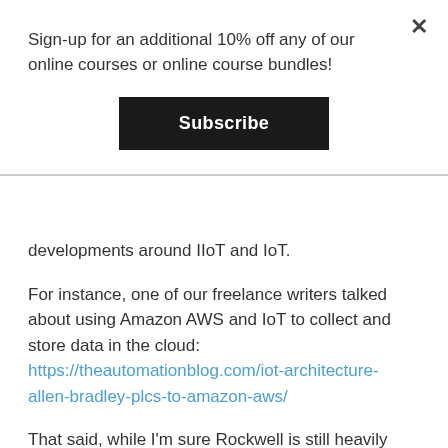Sign-up for an additional 10% off any of our online courses or online course bundles!
Subscribe
developments around IIoT and IoT.
For instance, one of our freelance writers talked about using Amazon AWS and IoT to collect and store data in the cloud: https://theautomationblog.com/iot-architecture-allen-bradley-plcs-to-amazon-aws/
That said, while I'm sure Rockwell is still heavily pushing FT Historian, I do have a software spot for Transaction Manager (RSSQL) as it's so easy to use to and powerful